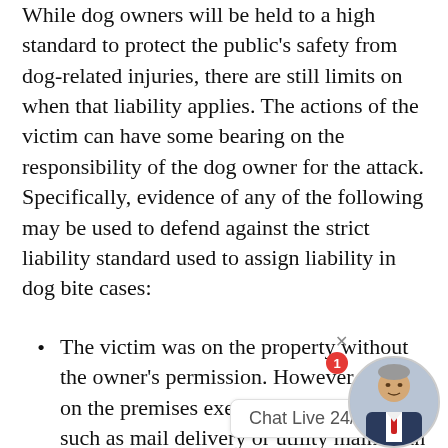While dog owners will be held to a high standard to protect the public's safety from dog-related injuries, there are still limits on when that liability applies. The actions of the victim can have some bearing on the responsibility of the dog owner for the attack. Specifically, evidence of any of the following may be used to defend against the strict liability standard used to assign liability in dog bite cases:
The victim was on the property without the owner's permission. However, those on the premises executing a legal duty, such as mail delivery or utility maintenance, would be covered;